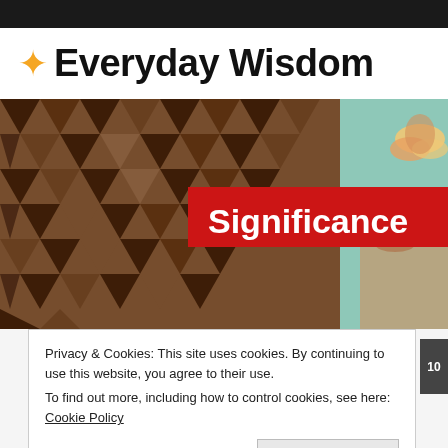✦ Everyday Wisdom
[Figure (photo): Banner image showing a decorative geometric brown pattern on the left, a lotus flower and hands on the right with a teal/blue-green background, and a red overlay bar with white bold text reading 'Significance']
Privacy & Cookies: This site uses cookies. By continuing to use this website, you agree to their use.
To find out more, including how to control cookies, see here: Cookie Policy
Close and accept